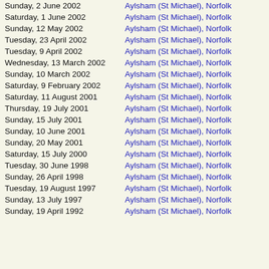Sunday, 2 June 2002 | Aylsham (St Michael), Norfolk
Saturday, 1 June 2002 | Aylsham (St Michael), Norfolk
Sunday, 12 May 2002 | Aylsham (St Michael), Norfolk
Tuesday, 23 April 2002 | Aylsham (St Michael), Norfolk
Tuesday, 9 April 2002 | Aylsham (St Michael), Norfolk
Wednesday, 13 March 2002 | Aylsham (St Michael), Norfolk
Sunday, 10 March 2002 | Aylsham (St Michael), Norfolk
Saturday, 9 February 2002 | Aylsham (St Michael), Norfolk
Saturday, 11 August 2001 | Aylsham (St Michael), Norfolk
Thursday, 19 July 2001 | Aylsham (St Michael), Norfolk
Sunday, 15 July 2001 | Aylsham (St Michael), Norfolk
Sunday, 10 June 2001 | Aylsham (St Michael), Norfolk
Sunday, 20 May 2001 | Aylsham (St Michael), Norfolk
Saturday, 15 July 2000 | Aylsham (St Michael), Norfolk
Tuesday, 30 June 1998 | Aylsham (St Michael), Norfolk
Sunday, 26 April 1998 | Aylsham (St Michael), Norfolk
Tuesday, 19 August 1997 | Aylsham (St Michael), Norfolk
Sunday, 13 July 1997 | Aylsham (St Michael), Norfolk
Sunday, 19 April 1992 | Aylsham (St Michael), Norfolk